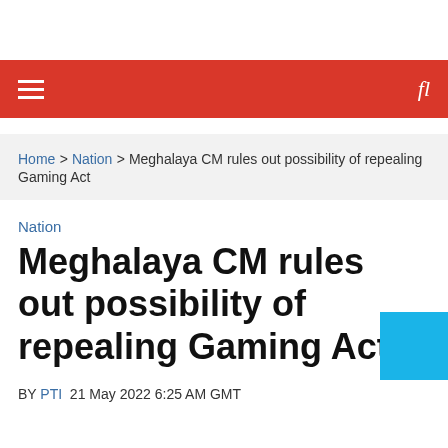Home > Nation > Meghalaya CM rules out possibility of repealing Gaming Act
Nation
Meghalaya CM rules out possibility of repealing Gaming Act
BY PTI  21 May 2022 6:25 AM GMT